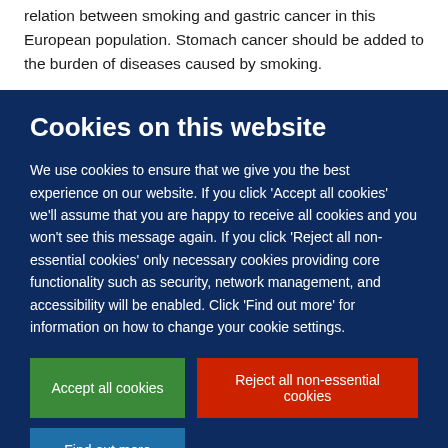relation between smoking and gastric cancer in this European population. Stomach cancer should be added to the burden of diseases caused by smoking.
Cookies on this website
We use cookies to ensure that we give you the best experience on our website. If you click 'Accept all cookies' we'll assume that you are happy to receive all cookies and you won't see this message again. If you click 'Reject all non-essential cookies' only necessary cookies providing core functionality such as security, network management, and accessibility will be enabled. Click 'Find out more' for information on how to change your cookie settings.